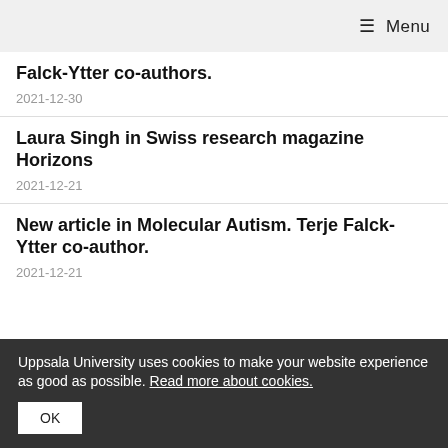☰ Menu
Falck-Ytter co-authors.
2021-12-30
Laura Singh in Swiss research magazine Horizons
2021-12-21
New article in Molecular Autism. Terje Falck-Ytter co-author.
2021-12-21
Uppsala University uses cookies to make your website experience as good as possible. Read more about cookies.